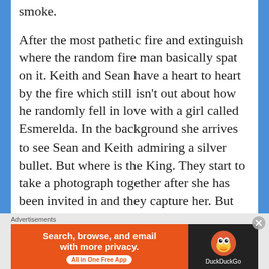smoke.
After the most pathetic fire and extinguish where the random fire man basically spat on it. Keith and Sean have a heart to heart by the fire which still isn't out about how he randomly fell in love with a girl called Esmerelda. In the background she arrives to see Sean and Keith admiring a silver bullet. But where is the King. They start to take a photograph together after she has been invited in and they capture her. But waiting in the background was her father and unsubtle Igor. Her father rescues her with some random magical powers which I'm not quite sure
Advertisements
[Figure (other): DuckDuckGo advertisement banner: orange section with text 'Search, browse, and email with more privacy. All in One Free App' and dark section with DuckDuckGo duck logo and brand name.]